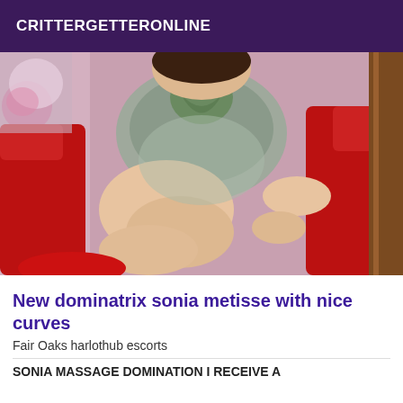CRITTERGETTERONLINE
[Figure (photo): A woman in a silver/grey patterned dress seated on a red velvet chair against a floral background]
New dominatrix sonia metisse with nice curves
Fair Oaks harlothub escorts
SONIA MASSAGE DOMINATION I RECEIVE A